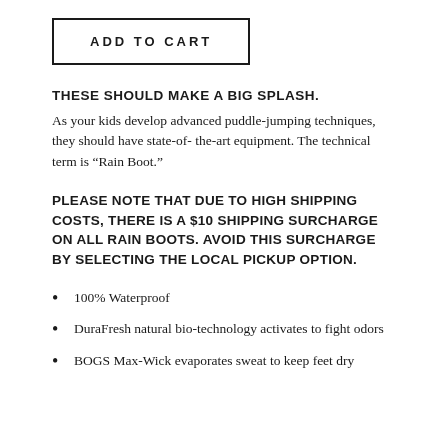ADD TO CART
THESE SHOULD MAKE A BIG SPLASH.
As your kids develop advanced puddle-jumping techniques, they should have state-of- the-art equipment. The technical term is “Rain Boot.”
PLEASE NOTE THAT DUE TO HIGH SHIPPING COSTS, THERE IS A $10 SHIPPING SURCHARGE ON ALL RAIN BOOTS. AVOID THIS SURCHARGE BY SELECTING THE LOCAL PICKUP OPTION.
100% Waterproof
DuraFresh natural bio-technology activates to fight odors
BOGS Max-Wick evaporates sweat to keep feet dry